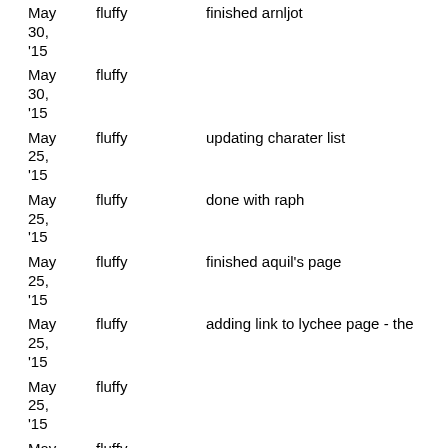| Date | User | Action |
| --- | --- | --- |
| May 30, '15 | fluffy | finished arnljot |
| May 30, '15 | fluffy |  |
| May 25, '15 | fluffy | updating charater list |
| May 25, '15 | fluffy | done with raph |
| May 25, '15 | fluffy | finished aquil's page |
| May 25, '15 | fluffy | adding link to lychee page - the |
| May 25, '15 | fluffy |  |
| May 25, '15 | fluffy |  |